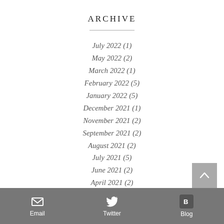ARCHIVE
July 2022 (1)
May 2022 (2)
March 2022 (1)
February 2022 (5)
January 2022 (5)
December 2021 (1)
November 2021 (2)
September 2021 (2)
August 2021 (2)
July 2021 (5)
June 2021 (2)
April 2021 (2)
February 2021 (1)
October 2020 (1)
August 2020 (1)
Email  Twitter  Blog